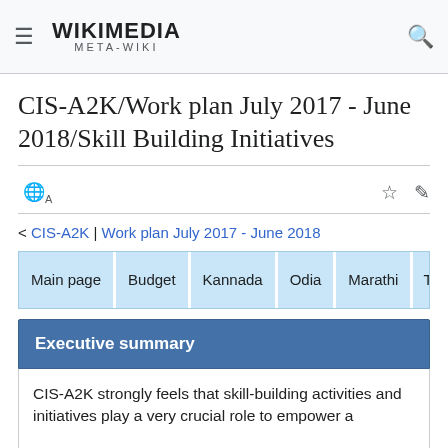WIKIMEDIA META-WIKI
CIS-A2K/Work plan July 2017 - June 2018/Skill Building Initiatives
< CIS-A2K | Work plan July 2017 - June 2018
Main page | Budget | Kannada | Odia | Marathi | T
Executive summary
CIS-A2K strongly feels that skill-building activities and initiatives play a very crucial role to empower a